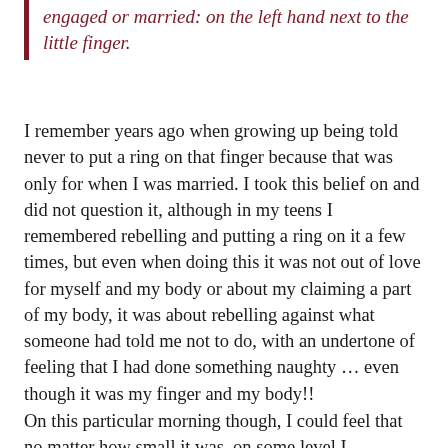engaged or married: on the left hand next to the little finger.
I remember years ago when growing up being told never to put a ring on that finger because that was only for when I was married. I took this belief on and did not question it, although in my teens I remembered rebelling and putting a ring on it a few times, but even when doing this it was not out of love for myself and my body or about my claiming a part of my body, it was about rebelling against what someone had told me not to do, with an undertone of feeling that I had done something naughty … even though it was my finger and my body!!
On this particular morning though, I could feel that no matter how small it was, on some level I